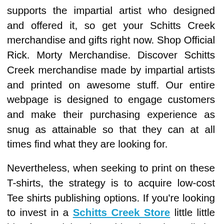supports the impartial artist who designed and offered it, so get your Schitts Creek merchandise and gifts right now. Shop Official Rick. Morty Merchandise. Discover Schitts Creek merchandise made by impartial artists and printed on awesome stuff. Our entire webpage is designed to engage customers and make their purchasing experience as snug as attainable so that they can at all times find what they are looking for.
Nevertheless, when seeking to print on these T-shirts, the strategy is to acquire low-cost Tee shirts publishing options. If you're looking to invest in a Schitts Creek Store little little bit of nostalgia, then this place has all the things you want. Then publish it onto the printer's ink rollers. When you desire your Schitts Creek Apparel to have a funky, distinct look and likewise incorporate some pop artwork or graphics, then there are quite a few methods in